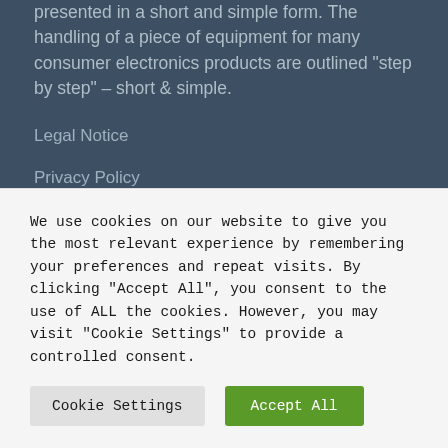presented in a short and simple form. The handling of a piece of equipment for many consumer electronics products are outlined "step by step" – short & simple.
Legal Notice
Privacy Policy
Terms Of Service
Latest News
We use cookies on our website to give you the most relevant experience by remembering your preferences and repeat visits. By clicking "Accept All", you consent to the use of ALL the cookies. However, you may visit "Cookie Settings" to provide a controlled consent.